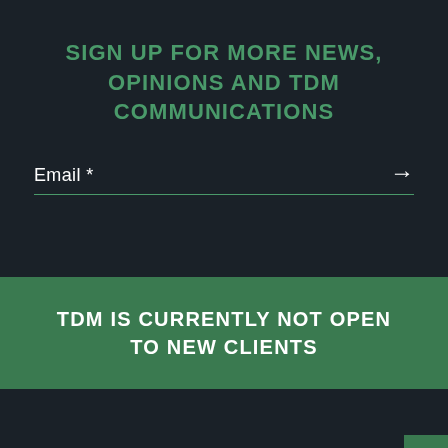SIGN UP FOR MORE NEWS, OPINIONS AND TDM COMMUNICATIONS
Email *
TDM IS CURRENTLY NOT OPEN TO NEW CLIENTS